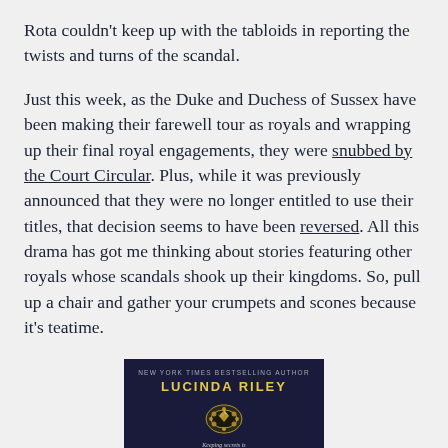Rota couldn't keep up with the tabloids in reporting the twists and turns of the scandal.
Just this week, as the Duke and Duchess of Sussex have been making their farewell tour as royals and wrapping up their final royal engagements, they were snubbed by the Court Circular. Plus, while it was previously announced that they were no longer entitled to use their titles, that decision seems to have been reversed. All this drama has got me thinking about stories featuring other royals whose scandals shook up their kingdoms. So, pull up a chair and gather your crumpets and scones because it's teatime.
[Figure (photo): Book cover of a novel by New York Times bestselling author Lucinda Riley, with dark navy background, gold author name, jeweled brooch graphic, and italic tagline 'Keeping secrets is a dangerous game.']